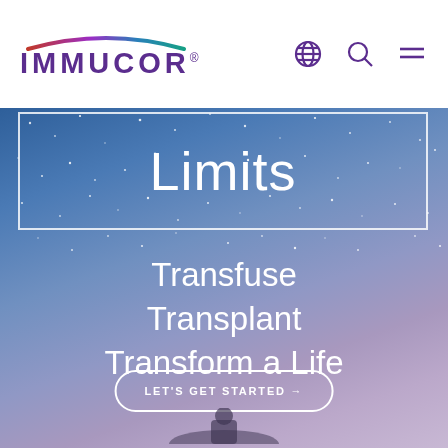IMMUCOR
[Figure (screenshot): Immucor website hero section with starry night sky background. Shows 'Limits' text inside a white border box, followed by taglines 'Transfuse', 'Transplant', 'Transform a Life', and a 'LET'S GET STARTED →' call-to-action button. A silhouette of a person is visible at the bottom.]
Limits
Transfuse
Transplant
Transform a Life
LET'S GET STARTED →